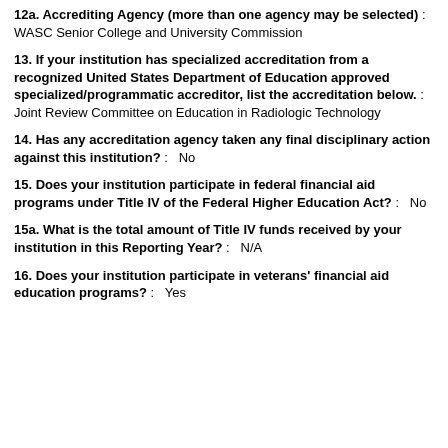12a. Accrediting Agency (more than one agency may be selected) :   WASC Senior College and University Commission
13. If your institution has specialized accreditation from a recognized United States Department of Education approved specialized/programmatic accreditor, list the accreditation below. :   Joint Review Committee on Education in Radiologic Technology
14. Has any accreditation agency taken any final disciplinary action against this institution? :   No
15. Does your institution participate in federal financial aid programs under Title IV of the Federal Higher Education Act? :   No
15a. What is the total amount of Title IV funds received by your institution in this Reporting Year? :   N/A
16. Does your institution participate in veterans' financial aid education programs? :   Yes